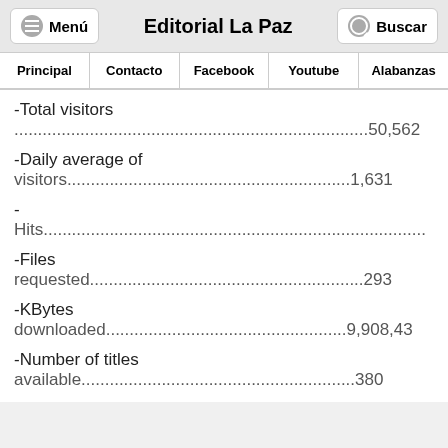Menú   Editorial La Paz   Buscar
| Principal | Contacto | Facebook | Youtube | Alabanzas |
| --- | --- | --- | --- | --- |
-Total visitors ...........................50,562
-Daily average of visitors...........................1,631
- Hits............................
-Files requested...........................293
-KBytes downloaded...........................9,908,43
-Number of titles available...........................380